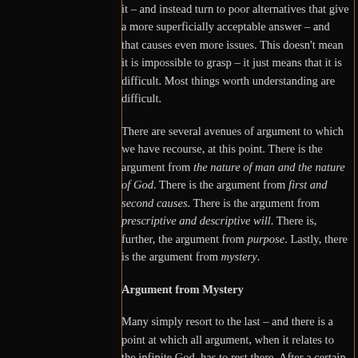it – and instead turn to poor alternatives that give a more superficially acceptable answer – and that causes even more issues. This doesn't mean it is impossible to grasp – it just means that it is difficult. Most things worth understanding are difficult.
There are several avenues of argument to which we have recourse, at this point. There is the argument from the nature of man and the nature of God. There is the argument from first and second causes. There is the argument from prescriptive and descriptive will. There is, further, the argument from purpose. Lastly, there is the argument from mystery.
Argument from Mystery
Many simply resort to the last – and there is a point at which all argument, when it relates to the infinite God, has to rest there. After a certain point, we just don't know, and will either have to await further insight, in sanctification, into what Scripture already reveals – or wait until we see Him face to face, and understand all clearly. It really is okay if we just don't understand, but trust God in faithful obedience. We might come to understand more – and it's perfectly acceptable to do this in lieu of speculation. I do